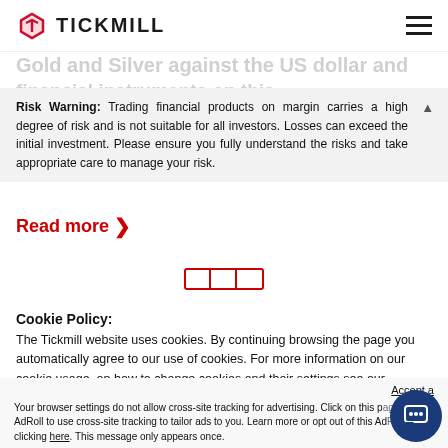TICKMILL
Gold and Silver against the US dollar and financial instruments on this
Risk Warning: Trading financial products on margin carries a high degree of risk and is not suitable for all investors. Losses can exceed the initial investment. Please ensure you fully understand the risks and take appropriate care to manage your risk.
Read more >
Cookie Policy: The Tickmill website uses cookies. By continuing browsing the page you automatically agree to our use of cookies. For more information on our cookie usage, on how to change cookies and their settings see our Cookies Policy.
OK
Accept a
Your browser settings do not allow cross-site tracking for advertising. Click on this page of AdRoll to use cross-site tracking to tailor ads to you. Learn more or opt out of this AdRoll by clicking here. This message only appears once.
government Treasuries